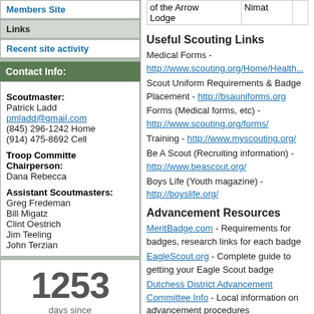Members Site
Links
Recent site activity
Contact Info:
Scoutmaster: Patrick Ladd pmladd@gmail.com (845) 296-1242 Home (914) 475-8692 Cell
Troop Committe Chairperson: Dana Rebecca
Assistant Scoutmasters: Greg Fredeman, Bill Migatz, Clint Oestrich, Jim Teeling, John Terzian
1253 days since DC Trip
| of the Arrow Lodge | Nimat |
| --- | --- |
Useful Scouting Links
Medical Forms - http://www.scouting.org/Home/Health... Scout Uniform Requirements & Badge Placement - http://bsauniforms.org Forms (Medical forms, etc) - http://www.scouting.org/forms/ Training - http://www.myscouting.org/ Be A Scout (Recruiting information) - http://www.beascout.org/ Boys Life (Youth magazine) - http://boyslife.org/
Advancement Resources
MeritBadge.com - Requirements for badges, research links for each badge EagleScout.org - Complete guide to getting your Eagle Scout badge Dutchess District Advancement Committee Info - Local information on advancement procedures